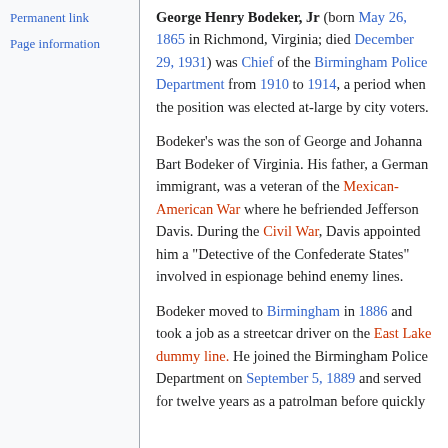Permanent link
Page information
George Henry Bodeker, Jr (born May 26, 1865 in Richmond, Virginia; died December 29, 1931) was Chief of the Birmingham Police Department from 1910 to 1914, a period when the position was elected at-large by city voters.
Bodeker's was the son of George and Johanna Bart Bodeker of Virginia. His father, a German immigrant, was a veteran of the Mexican-American War where he befriended Jefferson Davis. During the Civil War, Davis appointed him a "Detective of the Confederate States" involved in espionage behind enemy lines.
Bodeker moved to Birmingham in 1886 and took a job as a streetcar driver on the East Lake dummy line. He joined the Birmingham Police Department on September 5, 1889 and served for twelve years as a patrolman before quickly